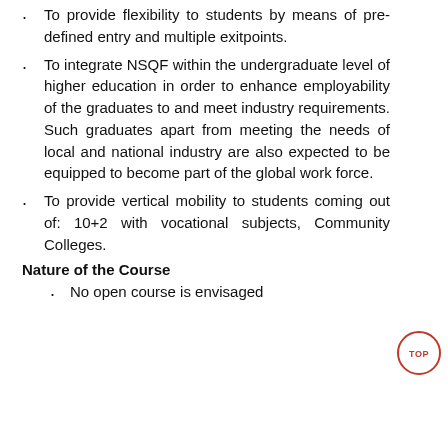To provide flexibility to students by means of pre-defined entry and multiple exitpoints.
To integrate NSQF within the undergraduate level of higher education in order to enhance employability of the graduates to and meet industry requirements. Such graduates apart from meeting the needs of local and national industry are also expected to be equipped to become part of the global work force.
To provide vertical mobility to students coming out of: 10+2 with vocational subjects, Community Colleges.
Nature of the Course
No open course is envisaged